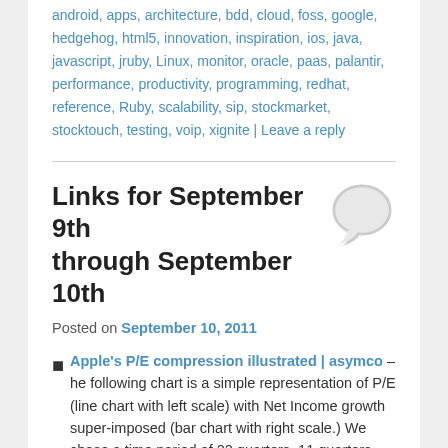android, apps, architecture, bdd, cloud, foss, google, hedgehog, html5, innovation, inspiration, ios, java, javascript, jruby, Linux, monitor, oracle, paas, palantir, performance, productivity, programming, redhat, reference, Ruby, scalability, sip, stockmarket, stocktouch, testing, voip, xignite | Leave a reply
Links for September 9th through September 10th
Posted on September 10, 2011
Apple's P/E compression illustrated | asymco – he following chart is a simple representation of P/E (line chart with left scale) with Net Income growth super-imposed (bar chart with right scale.) We chose a time period of 22 quarters. 11 quarters after the crisis (i.e. quarters after the one ending in Sept. 2008) and 11 quarters before the crisis (quarter ending 12/20/05 through the one ending 6/30/08).